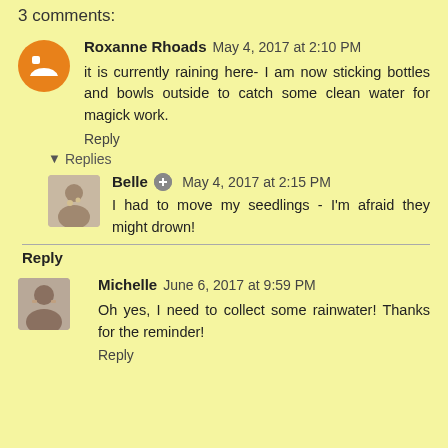3 comments:
Roxanne Rhoads May 4, 2017 at 2:10 PM
it is currently raining here- I am now sticking bottles and bowls outside to catch some clean water for magick work.
Reply
Replies
Belle May 4, 2017 at 2:15 PM
I had to move my seedlings - I'm afraid they might drown!
Reply
Michelle June 6, 2017 at 9:59 PM
Oh yes, I need to collect some rainwater! Thanks for the reminder!
Reply